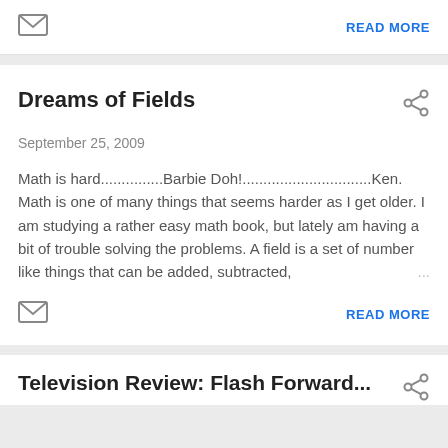[Figure (other): Email/envelope icon]
READ MORE
Dreams of Fields
[Figure (other): Share icon]
September 25, 2009
Math is hard...............Barbie Doh!...............................Ken. Math is one of many things that seems harder as I get older. I am studying a rather easy math book, but lately am having a bit of trouble solving the problems. A field is a set of number like things that can be added, subtracted,     ...
[Figure (other): Email/envelope icon]
READ MORE
Television Review: Flash Forward...